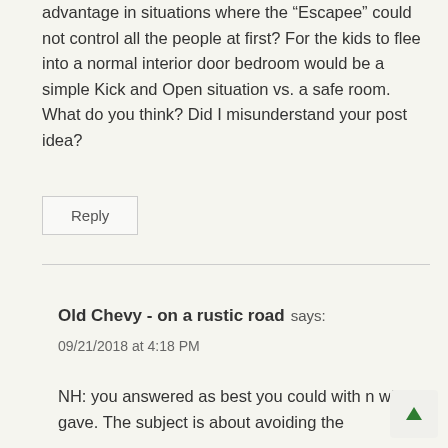advantage in situations where the “Escapee” could not control all the people at first? For the kids to flee into a normal interior door bedroom would be a simple Kick and Open situation vs. a safe room. What do you think? Did I misunderstand your post idea?
Reply
Old Chevy - on a rustic road says:
09/21/2018 at 4:18 PM
NH: you answered as best you could with n what I gave. The subject is about avoiding the